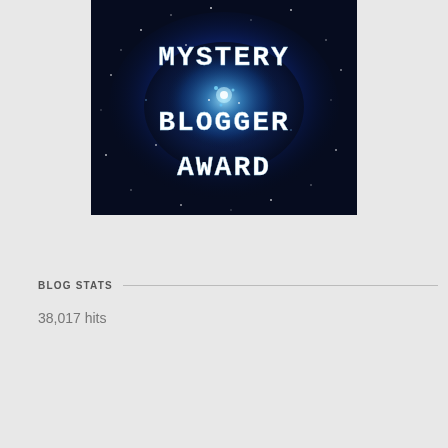[Figure (illustration): Mystery Blogger Award badge: dark blue nebula/galaxy background with bright star cluster center, white typewriter-style text reading MYSTERY BLOGGER AWARD]
BLOG STATS
38,017 hits